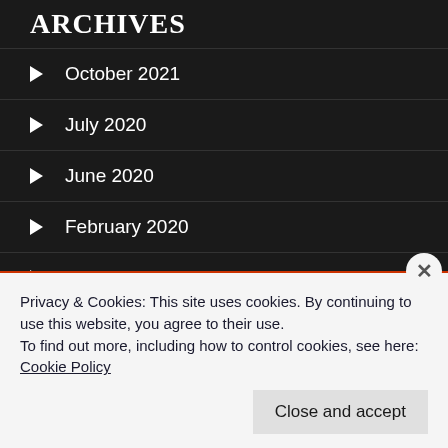ARCHIVES
October 2021
July 2020
June 2020
February 2020
October 2019
September 2019
July 2019
May 2019
Privacy & Cookies: This site uses cookies. By continuing to use this website, you agree to their use.
To find out more, including how to control cookies, see here: Cookie Policy
Close and accept